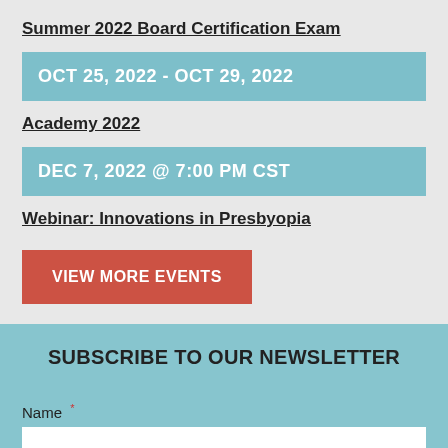Summer 2022 Board Certification Exam
OCT 25, 2022 - OCT 29, 2022
Academy 2022
DEC 7, 2022 @ 7:00 PM CST
Webinar: Innovations in Presbyopia
VIEW MORE EVENTS
SUBSCRIBE TO OUR NEWSLETTER
Name *